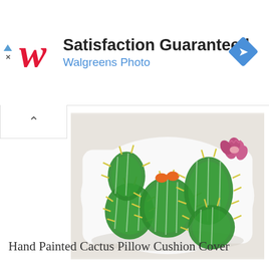[Figure (logo): Walgreens ad banner with red stylized W logo, text 'Satisfaction Guaranteed' and 'Walgreens Photo', blue navigation diamond arrow icon on right, small ad indicator icons on left]
[Figure (photo): White square pillow cushion cover with hand-painted prickly pear cactus design in green with yellow spines, orange fruit buds, and a pink flower bloom at top right, photographed on a light beige background]
Hand Painted Cactus Pillow Cushion Cover